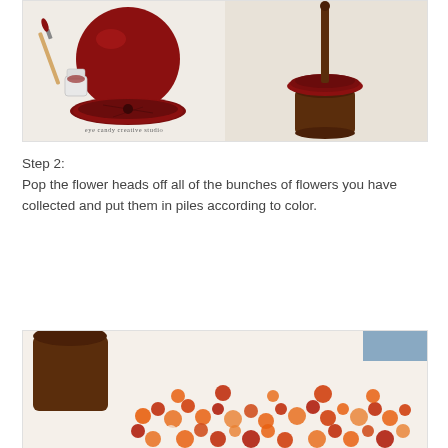[Figure (photo): Two-panel photo showing craft project steps: left panel shows a red painted apple-shaped object with base, paintbrush and paint jar beside it; right panel shows a dark stick/stem inserted through a red disc base, with a dark brown cup below. Watermark reads 'eye candy creative studio'.]
Step 2:
Pop the flower heads off all of the bunches of flowers you have collected and put them in piles according to color.
[Figure (photo): Photo showing a dark brown pot/cup in the upper left and a scattered arrangement of orange, red, and mixed color flower heads spread across a white surface, ready to be sorted by color.]